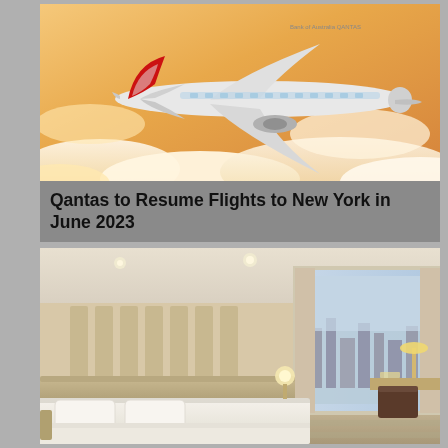[Figure (photo): Qantas Boeing 787 Dreamliner aircraft flying above clouds with warm golden sky. Aircraft has distinctive red tail with Qantas kangaroo logo.]
Qantas to Resume Flights to New York in June 2023
[Figure (photo): Modern hotel room with large white bed, wooden headboard with vertical panel lighting, large window overlooking a city skyline, desk with chair and lamp in background.]